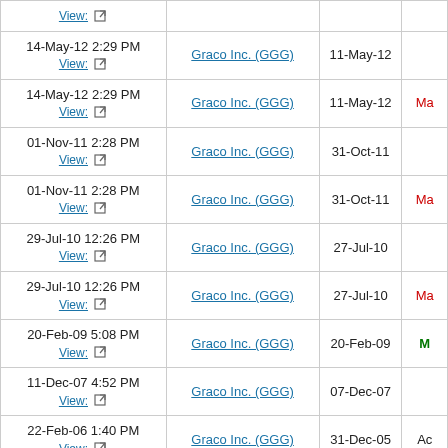| Filed Date | Company | Period of Report | Type |
| --- | --- | --- | --- |
| 14-May-12 2:29 PM View: | Graco Inc. (GGG) | 11-May-12 |  |
| 14-May-12 2:29 PM View: | Graco Inc. (GGG) | 11-May-12 | Ma |
| 01-Nov-11 2:28 PM View: | Graco Inc. (GGG) | 31-Oct-11 |  |
| 01-Nov-11 2:28 PM View: | Graco Inc. (GGG) | 31-Oct-11 | Ma |
| 29-Jul-10 12:26 PM View: | Graco Inc. (GGG) | 27-Jul-10 |  |
| 29-Jul-10 12:26 PM View: | Graco Inc. (GGG) | 27-Jul-10 | Ma |
| 20-Feb-09 5:08 PM View: | Graco Inc. (GGG) | 20-Feb-09 | M |
| 11-Dec-07 4:52 PM View: | Graco Inc. (GGG) | 07-Dec-07 |  |
| 22-Feb-06 1:40 PM View: | Graco Inc. (GGG) | 31-Dec-05 | Ac |
| 22-Feb-06 1:40 PM View: | Graco Inc. (GGG) | 30-Sep-05 | Ac |
| 22-Feb-06 1:40 PM View: | Graco Inc. (GGG) | 30-Jun-05 | Ac |
| 22-Feb-06 1:40 PM View: | Graco Inc. (GGG) | 31-Mar-05 | Ac |